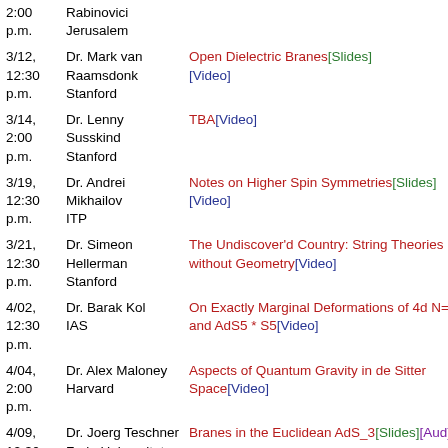| Date | Speaker | Title |
| --- | --- | --- |
| 2:00 p.m. | Rabinovici
Jerusalem |  |
| 3/12, 12:30 p.m. | Dr. Mark van Raamsdonk
Stanford | Open Dielectric Branes[Slides][Video] |
| 3/14, 2:00 p.m. | Dr. Lenny Susskind
Stanford | TBA[Video] |
| 3/19, 12:30 p.m. | Dr. Andrei Mikhailov
ITP | Notes on Higher Spin Symmetries[Slides][Video] |
| 3/21, 12:30 p.m. | Dr. Simeon Hellerman
Stanford | The Undiscover'd Country: String Theories without Geometry[Video] |
| 4/02, 12:30 p.m. | Dr. Barak Kol
IAS | On Exactly Marginal Deformations of 4d N=4 and AdS5 * S5[Video] |
| 4/04, 2:00 p.m. | Dr. Alex Maloney
Harvard | Aspects of Quantum Gravity in de Sitter Space[Video] |
| 4/09, 12:30 p.m. | Dr. Joerg Teschner
Freie Universitat Berlin | Branes in the Euclidean AdS_3[Slides][Aud] |
| 4/11, | Dr. Petr Horava | Ekpyrosis by Remote Control in |